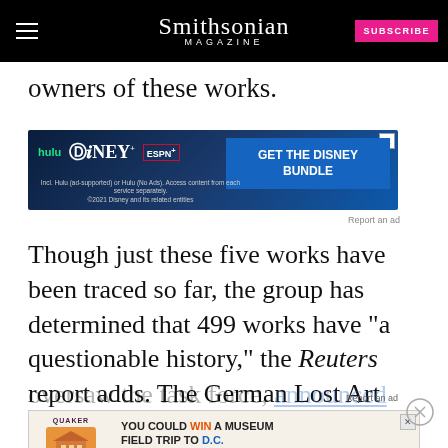Smithsonian MAGAZINE
owners of these works.
[Figure (screenshot): Disney Bundle advertisement banner: hulu, Disney+, ESPN+. GET THE DISNEY BUNDLE. Incl. Hulu (ad-supported) or Hulu (No Ads). Access content from each service separately. ©2021 Disney and its related entities]
Report an ad
Though just these five works have been traced so far, the group has determined that 499 works have "a questionable history," the Reuters report adds. The German Lost Art Foundation, who oversaw the task force, announced that a new phase
[Figure (screenshot): Quaker advertisement: YOU COULD WIN A MUSEUM FIELD TRIP TO D.C. LEARN MORE. NO PURCHASE NECESSARY. ENDS 9/14/22. SEE WEBSITE FOR DETAILS AND OFFICIAL RULES.]